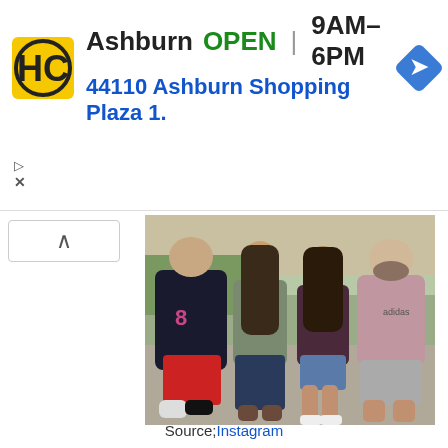[Figure (infographic): Advertisement banner showing HC logo, store name 'Ashburn', status 'OPEN', hours '9AM-6PM', address '44110 Ashburn Shopping Plaza 1.', and a navigation arrow icon]
[Figure (photo): Photo of four young people standing together outdoors. From left: male in black letterman jacket with number 8 and red shorts; female in grey top and jeans with long hair; female in dark maroon top and denim shorts; male in pink/mauve adidas sweatshirt and grey shorts.]
Source;Instagram